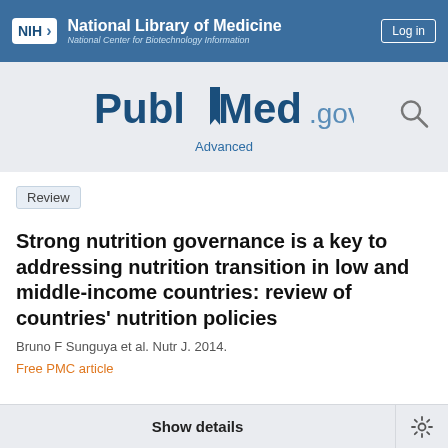NIH National Library of Medicine National Center for Biotechnology Information
[Figure (logo): PubMed.gov logo with bookmark icon and search icon]
Advanced
Review
Strong nutrition governance is a key to addressing nutrition transition in low and middle-income countries: review of countries' nutrition policies
Bruno F Sunguya et al. Nutr J. 2014.
Free PMC article
Show details